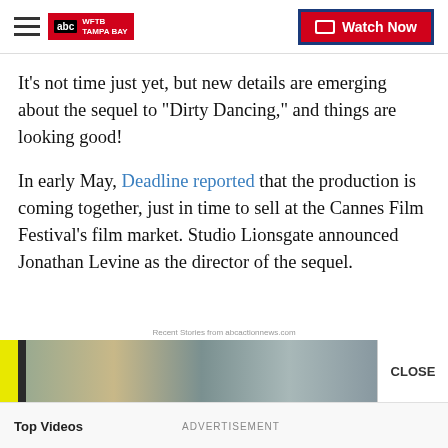WFTB TAMPA BAY | Watch Now
It’s not time just yet, but new details are emerging about the sequel to “Dirty Dancing,” and things are looking good!
In early May, Deadline reported that the production is coming together, just in time to sell at the Cannes Film Festival’s film market. Studio Lionsgate announced Jonathan Levine as the director of the sequel.
[Figure (screenshot): Advertisement video bar with yellow and dark stripe, road image, and CLOSE button. Below: Top Videos section with ADVERTISEMENT label and video thumbnails.]